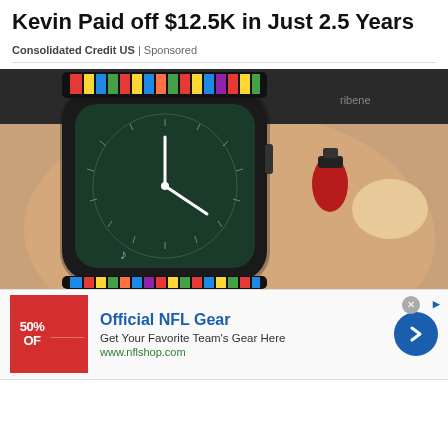Kevin Paid off $12.5K in Just 2.5 Years
Consolidated Credit US | Sponsored
[Figure (photo): A person's wrist wearing a smartwatch with a colorful braided band showing a clock face, with a small black and red nail polish bottle visible nearby on the skin.]
[Figure (infographic): Advertisement banner for Official NFL Gear. Red logo box with '50% OFF' text on left. Text reads: Official NFL Gear - Get Your Favorite Team's Gear Here - www.nflshop.com. Blue circle arrow button on right. Close X button and external link icon top right.]